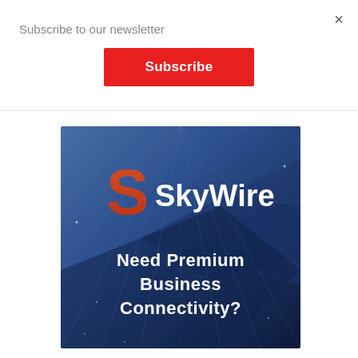Subscribe to our newsletter
×
Subscribe
[Figure (illustration): SkyWire advertisement banner with blue geometric background, red S logo, white SkyWire text, and bold white text reading 'Need Premium Business Connectivity?']